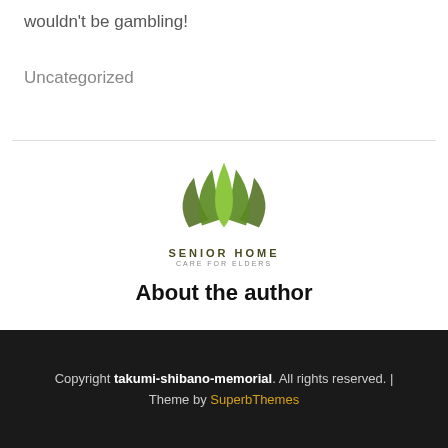wouldn't be gambling!
Uncategorized
[Figure (logo): Senior Home Care for Elders logo with green lotus/leaf graphic above text]
About the author
Copyright takumi-shibano-memorial. All rights reserved. | Theme by SuperbThemes